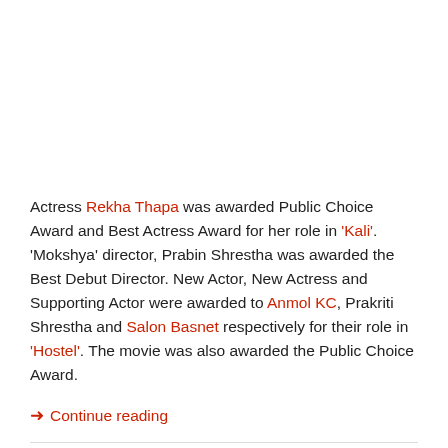Actress Rekha Thapa was awarded Public Choice Award and Best Actress Award for her role in 'Kali'. 'Mokshya' director, Prabin Shrestha was awarded the Best Debut Director. New Actor, New Actress and Supporting Actor were awarded to Anmol KC, Prakriti Shrestha and Salon Basnet respectively for their role in 'Hostel'. The movie was also awarded the Public Choice Award.
➜ Continue reading
Posted in Movie News | Tagged Award, Box Office Film Award, Jiwan Luitel, Rekha Thapa, Prabin...